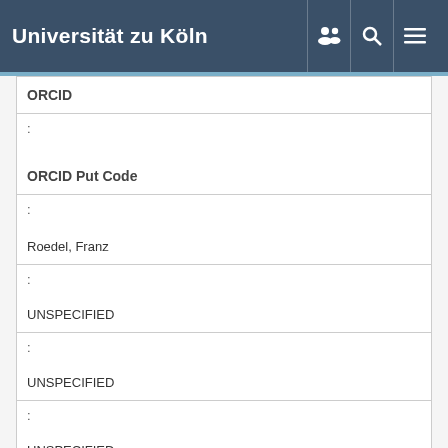Universität zu Köln
| Field | Value |
| --- | --- |
| ORCID |  |
| : |  |
| ORCID Put Code |  |
| : |  |
|  | Roedel, Franz |
| : |  |
|  | UNSPECIFIED |
| : |  |
|  | UNSPECIFIED |
| : |  |
|  | UNSPECIFIED |
| : |  |
|  | Steinhaeuser, Kerstin |
| : |  |
|  | UNSPECIFIED |